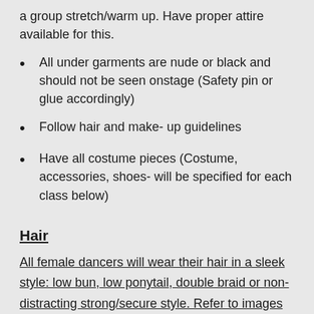a group stretch/warm up. Have proper attire available for this.
All under garments are nude or black and should not be seen onstage (Safety pin or glue accordingly)
Follow hair and make- up guidelines
Have all costume pieces (Costume, accessories, shoes- will be specified for each class below)
Hair
All female dancers will wear their hair in a sleek style: low bun, low ponytail, double braid or non-distracting strong/secure style. Refer to images below for acceptable looks. Students who have short hair must pull the hair away from the face. NO FLY AWAYS! Hair must be secured